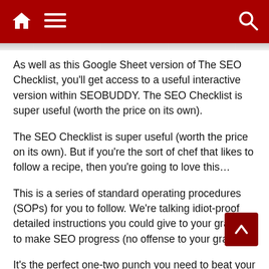Navigation bar with home, menu, and search icons
As well as this Google Sheet version of The SEO Checklist, you'll get access to a useful interactive version within SEOBUDDY. The SEO Checklist is super useful (worth the price on its own).
The SEO Checklist is super useful (worth the price on its own). But if you're the sort of chef that likes to follow a recipe, then you're going to love this…
This is a series of standard operating procedures (SOPs) for you to follow. We're talking idiot-proof detailed instructions you could give to your granny to make SEO progress (no offense to your granny).
It's the perfect one-two punch you need to beat your SEO competitors in the search rankings.
SEO is always evolving. While core fundamentals remain consistent,